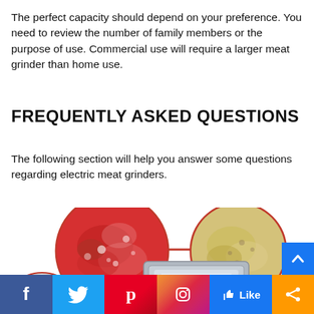The perfect capacity should depend on your preference. You need to review the number of family members or the purpose of use. Commercial use will require a larger meat grinder than home use.
FREQUENTLY ASKED QUESTIONS
The following section will help you answer some questions regarding electric meat grinders.
[Figure (infographic): Infographic showing circular images of ground meat, breadcrumbs/grain mixture, a baking tray, and other food items connected by red curved lines, partially visible at the bottom of the page.]
[Figure (infographic): Social media sharing bar at the bottom: Facebook (blue), Twitter (blue), Pinterest (red), Instagram (gradient), Like button (blue), Share button (orange).]